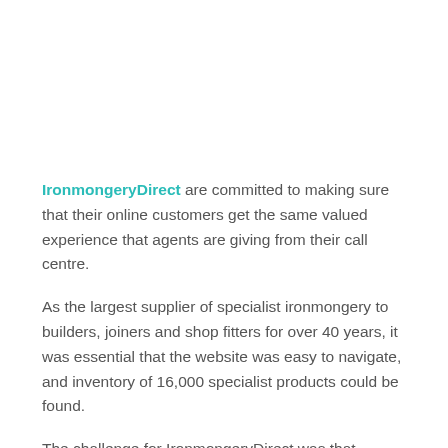IronmongeryDirect are committed to making sure that their online customers get the same valued experience that agents are giving from their call centre.
As the largest supplier of specialist ironmongery to builders, joiners and shop fitters for over 40 years, it was essential that the website was easy to navigate, and inventory of 16,000 specialist products could be found.
The challenge for IronmongeryDirect was that